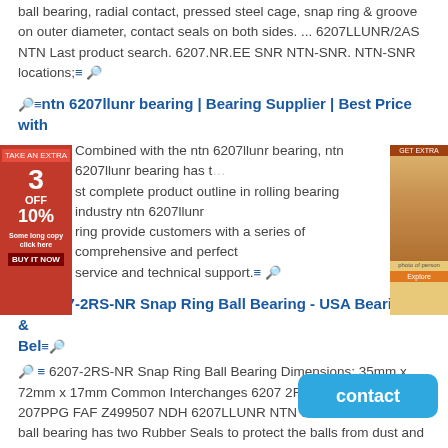ball bearing, radial contact, pressed steel cage, snap ring & groove on outer diameter, contact seals on both sides. ... 6207LLUNR/2AS NTN Last product search. 6207.NR.EE SNR NTN-SNR. NTN-SNR locations;≡🔧
🔧≡ntn 6207llunr bearing | Bearing Supplier | Best Price with
🔧≡ Combined with the ntn 6207llunr bearing, ntn 6207llunr bearing has the most complete product outline in rolling bearing industry ntn 6207llunr bearing provide customers with a series of comprehensive and perfect service and technical support.≡🔧
🔧≡6207-2RS-NR Snap Ring Ball Bearing - USA Bearings & Bel≡🔧
🔧≡ 6207-2RS-NR Snap Ring Ball Bearing Dimensions: 35mm x 72mm x 17mm Common Interchanges 6207 2RSNR 207SZZG MRC 207PPG FAF Z499507 NDH 6207LLUNR NTN 62072RSNR This ball bearing has two Rubber Seals to protect the balls from dust and debris. It is made of high quality chrome steel and is of ABEC 1 precision quali≡🔧
🔧≡ntn 6207llunr bearing | Bearing Supplier | Best Price with ≡🔧
🔧≡ Combined with the ntn 6207llunr bearing, ntn 6207ll... most complete product outline in rolling bearing industry... bearing provide customers with a series of comprehensive and perfect